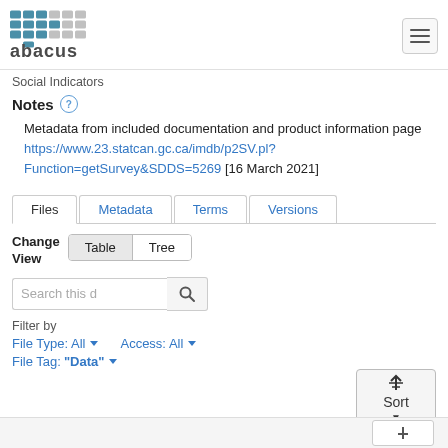[Figure (logo): Abacus logo - teal/grey grid pattern with 'abacus' text]
Social Indicators
Notes
Metadata from included documentation and product information page https://www.23.statcan.gc.ca/imdb/p2SV.pl?Function=getSurvey&SDDS=5269 [16 March 2021]
Files | Metadata | Terms | Versions
Change View  Table  Tree
Search this d
Filter by
File Type: All
Access: All
File Tag: "Data"